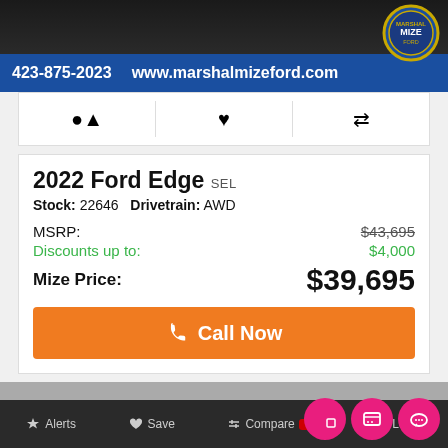[Figure (screenshot): Marshal Mize Ford dealer banner with phone number 423-875-2023 and website www.marshalmizeford.com, with gold dealer logo badge]
2022 Ford Edge SEL
Stock: 22646   Drivetrain: AWD
MSRP: $43,695
Discounts up to: $4,000
Mize Price: $39,695
Call Now
[Figure (photo): Marshal Mize Ford dealership exterior photo with MARSHAL MIZE signage and Ford logo]
Alerts   Save   Compare 0   Login